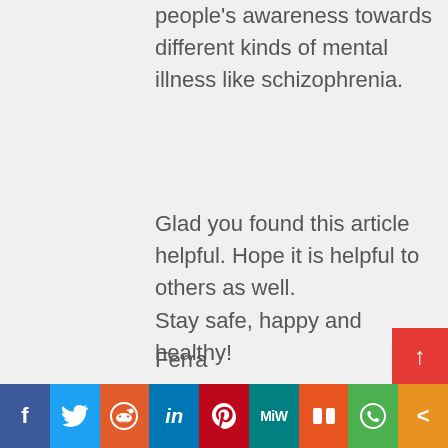people's awareness towards different kinds of mental illness like schizophrenia.
Glad you found this article helpful. Hope it is helpful to others as well.
Stay safe, happy and healthy!
Ferra
f | Twitter | Reddit | in | Pinterest | MiW | Mix | WhatsApp | More | ↑